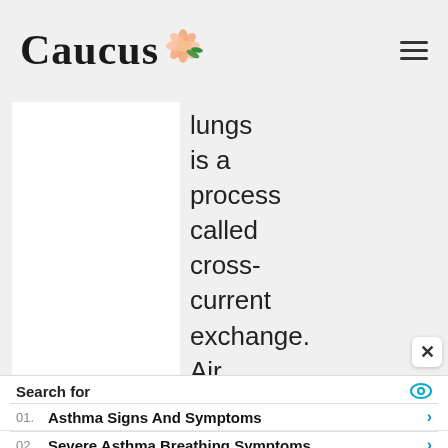Caucus
lungs is a process called cross-current exchange. Air passing through air capillaries
Search for
01. Asthma Signs And Symptoms
02. Severe Asthma Breathing Symptoms
Yahoo! Search | Sponsored